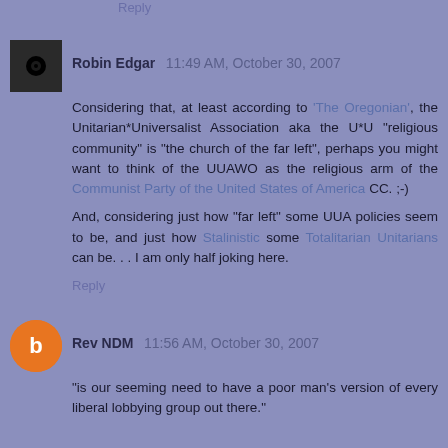Reply
Robin Edgar  11:49 AM, October 30, 2007
Considering that, at least according to 'The Oregonian', the Unitarian*Universalist Association aka the U*U "religious community" is "the church of the far left", perhaps you might want to think of the UUAWO as the religious arm of the Communist Party of the United States of America CC. ;-)
And, considering just how "far left" some UUA policies seem to be, and just how Stalinistic some Totalitarian Unitarians can be. . . I am only half joking here.
Reply
Rev NDM  11:56 AM, October 30, 2007
"is our seeming need to have a poor man's version of every liberal lobbying group out there."